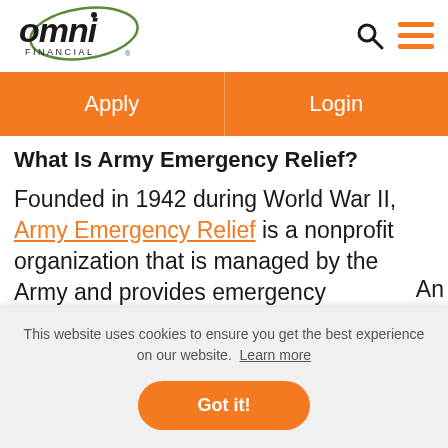[Figure (logo): Omni Financial logo with oval swoosh design]
Apply  Login
What Is Army Emergency Relief?
Founded in 1942 during World War II, Army Emergency Relief is a nonprofit organization that is managed by the Army and provides emergency
This website uses cookies to ensure you get the best experience on our website. Learn more
Got it!